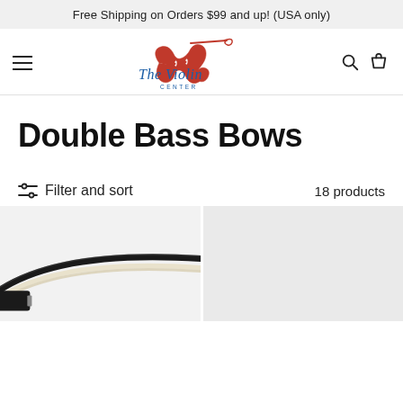Free Shipping on Orders $99 and up! (USA only)
[Figure (logo): The Violin Center logo with red violin silhouette and blue cursive text]
Double Bass Bows
Filter and sort   18 products
[Figure (photo): Close-up photo of a double bass bow showing black stick and cream horsehair ribbons against a light background]
[Figure (photo): Light gray product image placeholder for a second double bass bow]